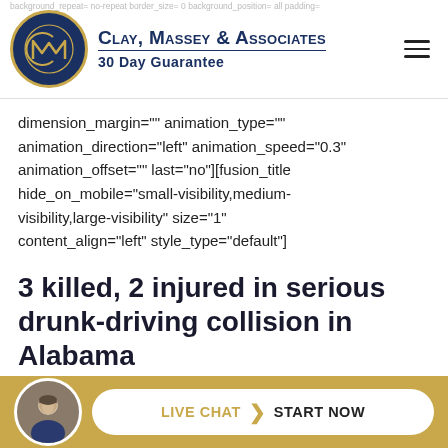[Figure (logo): Clay, Massey & Associates law firm logo with circular gold-bordered navy emblem showing stylized CM monogram, firm name in navy small-caps with underline, and '30 Day Guarantee' tagline]
dimension_margin="" animation_type="" animation_direction="left" animation_speed="0.3" animation_offset="" last="no"][fusion_title hide_on_mobile="small-visibility,medium-visibility,large-visibility" size="1" content_align="left" style_type="default"]
3 killed, 2 injured in serious drunk-driving collision in Alabama
[/fusion_title][fusion_text]
[Figure (photo): Live Chat start now button bar with gold background, circular avatar photo of a man in suit, and pill-shaped white button reading LIVE CHAT > START NOW]